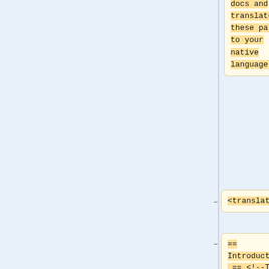docs and translate these parts to your native language.}}
<translate>
== Introduction == <!--T:2-->
<!--T:3-->
This document was written to help you install